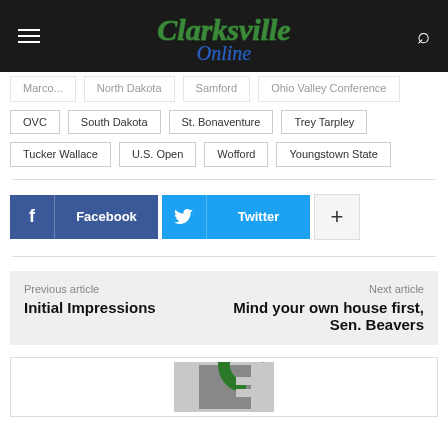Clarksville Online
Marco... | North Dakota | Samford | Ohio Valley Conference
OVC | South Dakota | St. Bonaventure | Trey Tarpley
Tucker Wallace | U.S. Open | Wofford | Youngstown State
[Figure (other): Facebook share button (dark blue) and Twitter share button (light blue) and plus button]
Previous article: Initial Impressions | Next article: Mind your own house first, Sen. Beavers
[Figure (logo): Clarksville Online logo (green C icon)]